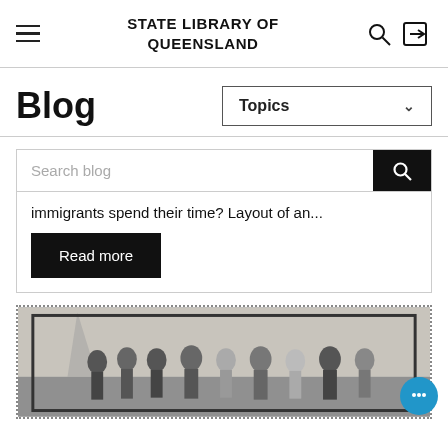STATE LIBRARY OF QUEENSLAND
Blog
Topics
Search blog
immigrants spend their time? Layout of an...
Read more
[Figure (photo): Black and white historical photograph of a group of people, likely immigrants, standing together]